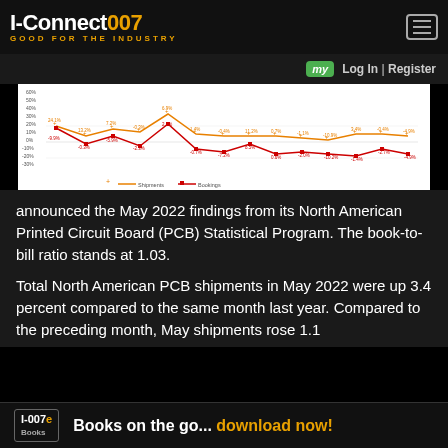I-Connect007 – GOOD FOR THE INDUSTRY
my | Log In | Register
[Figure (line-chart): Line chart showing PCB shipments and bookings percentage change over multiple months, with two lines: Shipments and Bookings]
announced the May 2022 findings from its North American Printed Circuit Board (PCB) Statistical Program. The book-to-bill ratio stands at 1.03.
Total North American PCB shipments in May 2022 were up 3.4 percent compared to the same month last year. Compared to the preceding month, May shipments rose 1.1
I-007e Books – Books on the go... download now!